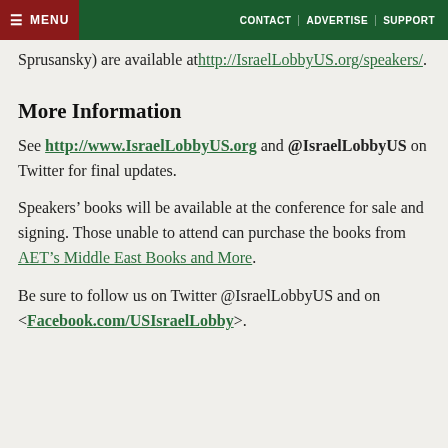MENU | CONTACT | ADVERTISE | SUPPORT
Sprusansky) are available at http://IsraelLobbyUS.org/speakers/.
More Information
See http://www.IsraelLobbyUS.org and @IsraelLobbyUS on Twitter for final updates.
Speakers’ books will be available at the conference for sale and signing. Those unable to attend can purchase the books from AET’s Middle East Books and More.
Be sure to follow us on Twitter @IsraelLobbyUS and on <Facebook.com/USIsraelLobby>.